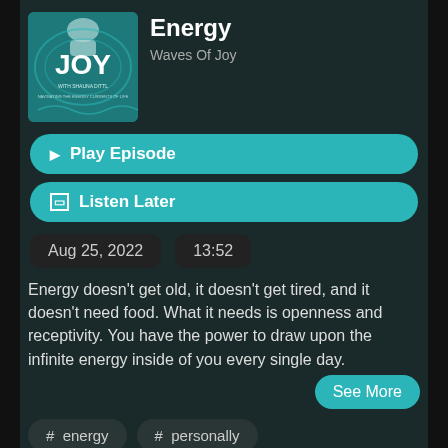[Figure (illustration): Podcast cover art for 'Waves of Joy with Shauna Dittl' — teal background with the word JOY in large white letters and text 'WITH SHAUNA DITTL' and 'NAVIGATING THE ENERGY CURRENTS OF LIFE']
Energy
Waves Of Joy
Play Episode
Listen Later
Aug 25, 2022
13:52
Energy doesn't get old, it doesn't get tired, and it doesn't need food. What it needs is openness and receptivity. You have the power to draw upon the infinite energy inside of you every single day.
See More
# energy
# personally
# fire bone broth